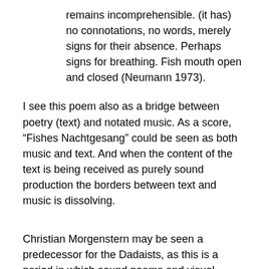remains incomprehensible. (it has) no connotations, no words, merely signs for their absence. Perhaps signs for breathing. Fish mouth open and closed (Neumann 1973).
I see this poem also as a bridge between poetry (text) and notated music. As a score, “Fishes Nachtgesang” could be seen as both music and text. And when the content of the text is being received as purely sound production the borders between text and music is dissolving.
Christian Morgenstern may be seen a predecessor for the Dadaists, as this is a period in which sound poems and visual poems became a more prevalent, important artistic expression.